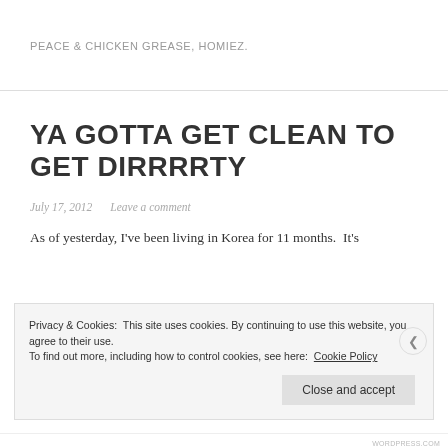PEACE & CHICKEN GREASE, HOMIEZ.
YA GOTTA GET CLEAN TO GET DIRRRRTY
July 17, 2012   Leave a comment
As of yesterday, I've been living in Korea for 11 months.  It's
Privacy & Cookies: This site uses cookies. By continuing to use this website, you agree to their use.
To find out more, including how to control cookies, see here: Cookie Policy
WORDPRESS.COM